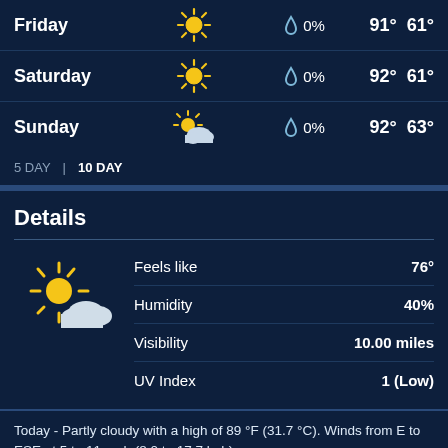| Day | Icon | Precip | High | Low |
| --- | --- | --- | --- | --- |
| Friday | sunny | 0% | 91° | 61° |
| Saturday | sunny | 0% | 92° | 61° |
| Sunday | partly cloudy | 0% | 92° | 63° |
5 DAY | 10 DAY
Details
| Detail | Value |
| --- | --- |
| Feels like | 76° |
| Humidity | 40% |
| Visibility | 10.00 miles |
| UV Index | 1 (Low) |
Today - Partly cloudy with a high of 89 °F (31.7 °C). Winds from E to ESE at 5 to 11 mph (8.0 to 17.7 kph).
Tonight - Partly cloudy. Winds from E to ESE at 6 to 7 mph (9.7 to 11.3 kph). The overnight low will be 64 °F (17.8 °C).